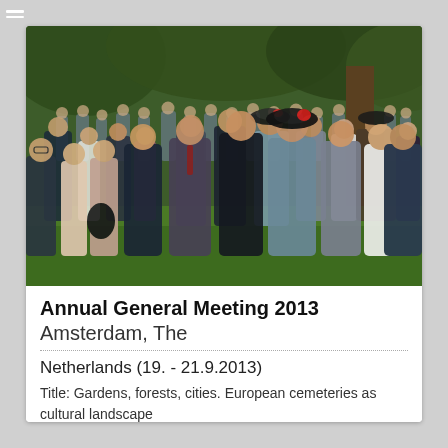[Figure (photo): Group photo of approximately 80 people posing outdoors in a garden/cemetery setting with trees in the background. Attendees at the Annual General Meeting 2013 in Amsterdam.]
Annual General Meeting 2013 Amsterdam, The Netherlands (19. - 21.9.2013)
Title: Gardens, forests, cities. European cemeteries as cultural landscape